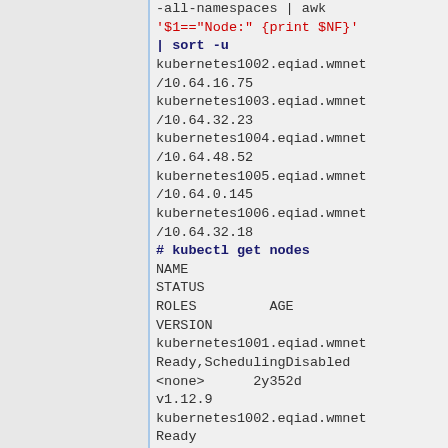-all-namespaces | awk '$1=="Node:" {print $NF}' | sort -u
kubernetes1002.eqiad.wmnet/10.64.16.75
kubernetes1003.eqiad.wmnet/10.64.32.23
kubernetes1004.eqiad.wmnet/10.64.48.52
kubernetes1005.eqiad.wmnet/10.64.0.145
kubernetes1006.eqiad.wmnet/10.64.32.18
# kubectl get nodes
NAME
STATUS
ROLES         AGE
VERSION
kubernetes1001.eqiad.wmnet
Ready,SchedulingDisabled
<none>      2y352d
v1.12.9
kubernetes1002.eqiad.wmnet
Ready
<none>      2y352d